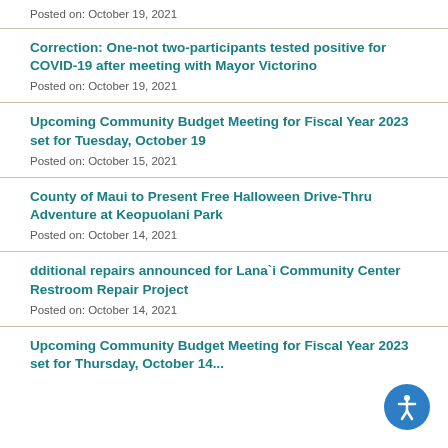Posted on: October 19, 2021
Correction: One-not two-participants tested positive for COVID-19 after meeting with Mayor Victorino
Posted on: October 19, 2021
Upcoming Community Budget Meeting for Fiscal Year 2023 set for Tuesday, October 19
Posted on: October 15, 2021
County of Maui to Present Free Halloween Drive-Thru Adventure at Keopuolani Park
Posted on: October 14, 2021
dditional repairs announced for Lana`i Community Center Restroom Repair Project
Posted on: October 14, 2021
Upcoming Community Budget Meeting for Fiscal Year 2023 set for Thursday, October 14...